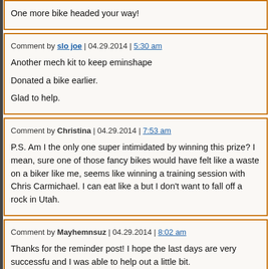One more bike headed your way!
Comment by slo joe | 04.29.2014 | 5:30 am
Another mech kit to keep eminshape
Donated a bike earlier.
Glad to help.
Comment by Christina | 04.29.2014 | 7:53 am
P.S. Am I the only one super intimidated by winning this prize? I mean, sure one of those fancy bikes would have felt like a waste on a biker like me, seems like winning a training session with Chris Carmichael. I can eat like a but I don't want to fall off a rock in Utah.
Comment by Mayhemnsuz | 04.29.2014 | 8:02 am
Thanks for the reminder post! I hope the last days are very successfu and I was able to help out a little bit.